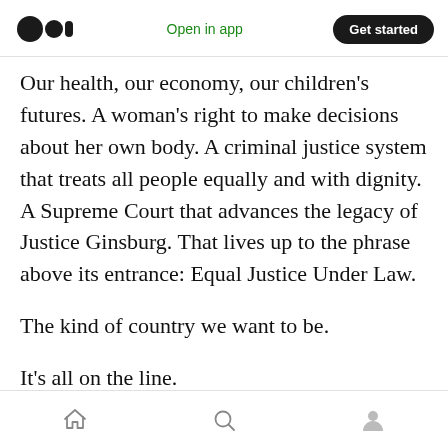Open in app | Get started
Our health, our economy, our children's futures. A woman's right to make decisions about her own body. A criminal justice system that treats all people equally and with dignity. A Supreme Court that advances the legacy of Justice Ginsburg. That lives up to the phrase above its entrance: Equal Justice Under Law.
The kind of country we want to be.
It's all on the line.
This is the...
Home | Search | Profile